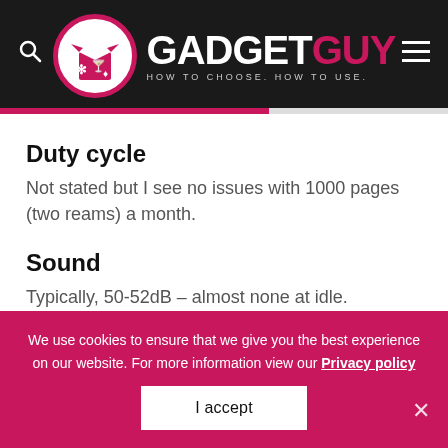[Figure (logo): GadgetGuy logo with circular icon, white GADGET and pink GUY text, tagline HOW TO CHOOSE. HOW TO USE.]
Duty cycle
Not stated but I see no issues with 1000 pages (two reams) a month.
Sound
Typically, 50-52dB – almost none at idle.
We use cookies to ensure that we give you the best experience on our website. For more information view our Privacy policy
I accept